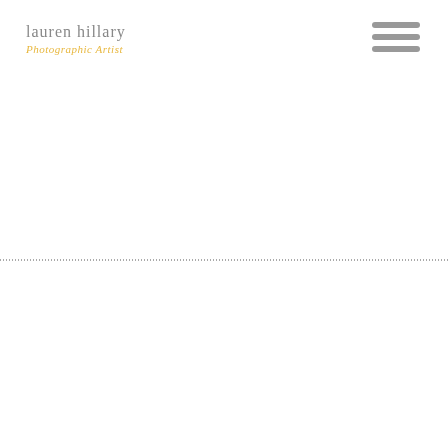lauren hillary — Photographic Artist
[Figure (other): Hamburger menu icon with three horizontal rounded gray bars]
[Figure (other): Horizontal dotted divider line spanning the full width of the page]